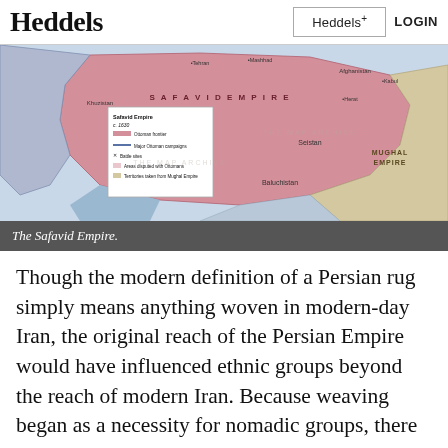Heddels | Heddels+ | LOGIN
[Figure (map): Historical map of the Safavid Empire circa 1630, showing territory in pink/red across Persia and surrounding regions including Afghanistan, Baluchistan, and borders with the Mughal Empire. Includes map legend showing Safavid Empire boundaries, Ottoman frontier, Major Ottoman campaigns, Battle sites, Areas disputed with Ottomans, and Territories taken from Mughal Empire.]
The Safavid Empire.
Though the modern definition of a Persian rug simply means anything woven in modern-day Iran, the original reach of the Persian Empire would have influenced ethnic groups beyond the reach of modern Iran. Because weaving began as a necessity for nomadic groups, there are many, many